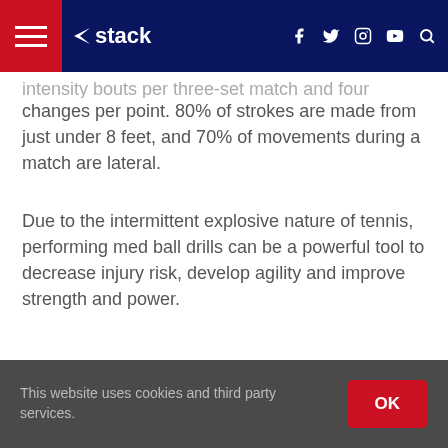stack
intensity bouts per three-set match and four direction changes per point. 80% of strokes are made from just under 8 feet, and 70% of movements during a match are lateral.
Due to the intermittent explosive nature of tennis, performing med ball drills can be a powerful tool to decrease injury risk, develop agility and improve strength and power.
This website uses cookies and third party services.